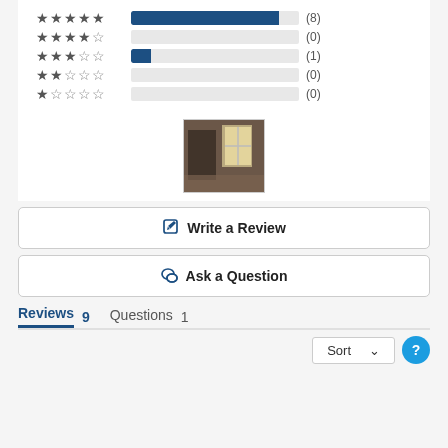[Figure (infographic): Star rating breakdown bars: 5-star (8 reviews, large blue bar), 4-star (0 reviews, empty bar), 3-star (1 review, small blue bar), 2-star (0 reviews, empty bar), 1-star (0 reviews, empty bar). Counts shown in parentheses.]
[Figure (photo): Small thumbnail photo of a room interior with a window, dark tones.]
Write a Review
Ask a Question
Reviews 9   Questions 1
Sort